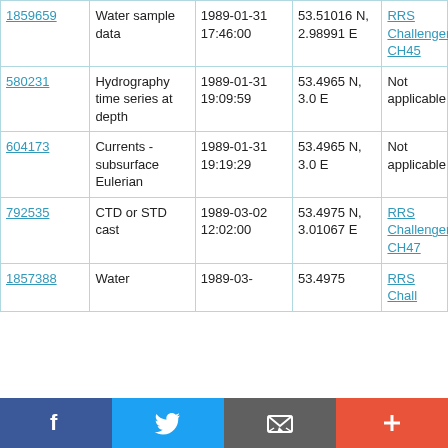| 1859659 | Water sample data | 1989-01-31 17:46:00 | 53.51016 N, 2.98991 E | RRS Challenger CH45 |
| 580231 | Hydrography time series at depth | 1989-01-31 19:09:59 | 53.4965 N, 3.0 E | Not applicable |
| 604173 | Currents - subsurface Eulerian | 1989-01-31 19:19:29 | 53.4965 N, 3.0 E | Not applicable |
| 792535 | CTD or STD cast | 1989-03-02 12:02:00 | 53.4975 N, 3.01067 E | RRS Challenger CH47 |
| 1857388 | Water ... | 1989-03-... | 53.4975 N, ... | RRS Chall... |